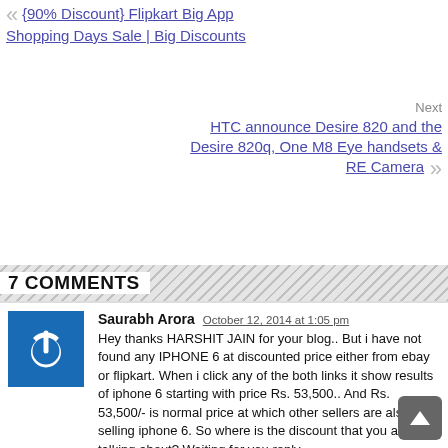« {90% Discount} Flipkart Big App Shopping Days Sale | Big Discounts
Next HTC announce Desire 820 and the Desire 820q, One M8 Eye handsets & RE Camera »
7 COMMENTS
Saurabh Arora  October 12, 2014 at 1:05 pm
Hey thanks HARSHIT JAIN for your blog.. But i have not found any IPHONE 6 at discounted price either from ebay or flipkart. When i click any of the both links it show results of iphone 6 starting with price Rs. 53,500.. And Rs. 53,500/- is normal price at which other sellers are also selling iphone 6. So where is the discount that you are talking about? Waiting for you reply.

Regards
Saurabh Arora